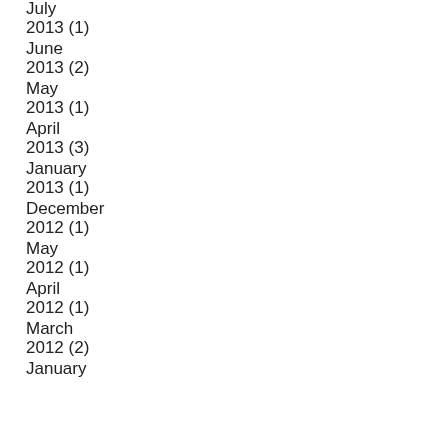July
2013 (1)
June
2013 (2)
May
2013 (1)
April
2013 (3)
January
2013 (1)
December
2012 (1)
May
2012 (1)
April
2012 (1)
March
2012 (2)
January